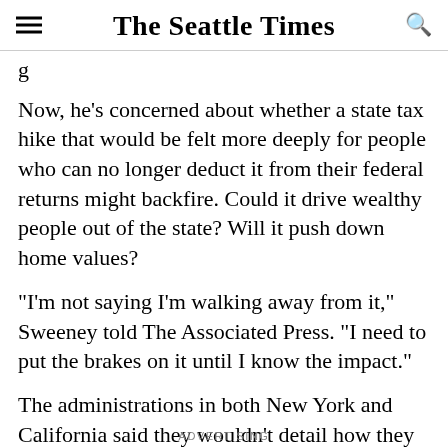The Seattle Times
g
Now, he’s concerned about whether a state tax hike that would be felt more deeply for people who can no longer deduct it from their federal returns might backfire. Could it drive wealthy people out of the state? Will it push down home values?
“I’m not saying I’m walking away from it,” Sweeney told The Associated Press. “I need to put the brakes on it until I know the impact.”
The administrations in both New York and California said they wouldn’t detail how they might respond to federal changes until they release their state budget proposals in January.
ADVERTISING